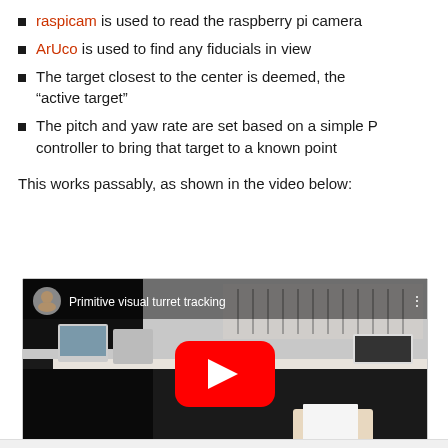raspicam is used to read the raspberry pi camera
ArUco is used to find any fiducials in view
The target closest to the center is deemed, the “active target”
The pitch and yaw rate are set based on a simple P controller to bring that target to a known point
This works passably, as shown in the video below:
[Figure (screenshot): YouTube video embed showing 'Primitive visual turret tracking' - a workshop scene with a robotic turret on a workbench, laboratory equipment visible, with a YouTube play button overlay. A person's hand is visible in the foreground holding a white card.]